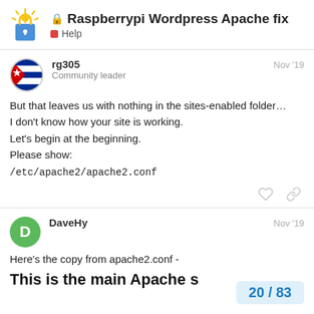Raspberrypi Wordpress Apache fix — Help
rg305
Community leader
Nov '19

But that leaves us with nothing in the sites-enabled folder…
I don't know how your site is working.
Let's begin at the beginning.
Please show:
/etc/apache2/apache2.conf
DaveHy
Nov '19

Here's the copy from apache2.conf -

This is the main Apache s
20 / 83